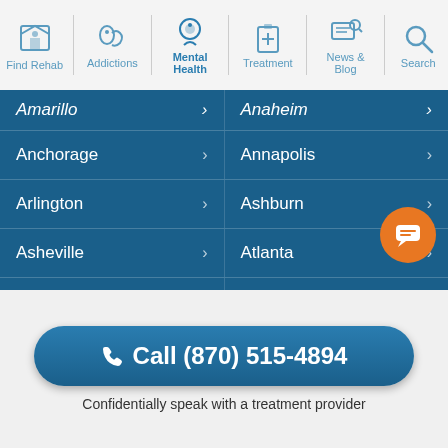Find Rehab | Addictions | Mental Health | Treatment | News & Blog | Search
Amarillo | Anaheim
Anchorage | Annapolis
Arlington | Ashburn
Asheville | Atlanta
Augusta | Augusta
Aurora | Austin
Bakersfield | Baltimore
Baton Rouge | Bayamón
Call (870) 515-4894
Confidentially speak with a treatment provider